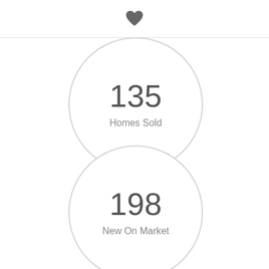♥
[Figure (infographic): Circle badge showing 135 Homes Sold]
[Figure (infographic): Circle badge showing 198 New On Market]